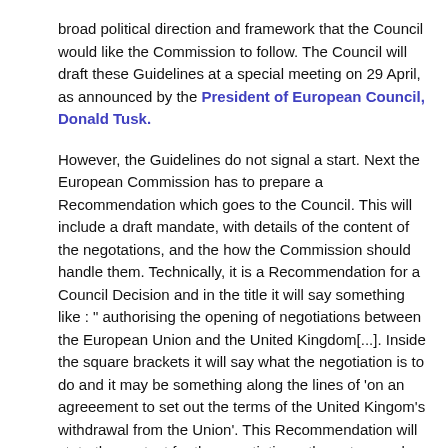broad political direction and framework that the Council would like the Commission to follow. The Council will draft these Guidelines at a special meeting on 29 April, as announced by the President of European Council, Donald Tusk.
However, the Guidelines do not signal a start. Next the European Commission has to prepare a Recommendation which goes to the Council. This will include a draft mandate, with details of the content of the negotations, and the how the Commission should handle them. Technically, it is a Recommendation for a Council Decision and in the title it will say something like : " authorising the opening of negotiations between the European Union and the United Kingdom[...]. Inside the square brackets it will say what the negotiation is to do and it may be something along the lines of 'on an agreeement to set out the terms of the United Kingom's withdrawal from the Union'. This Recommendation will state the context for the negotiations, the nature and scope of the negotiations and the procedures. Annexed to it will be the detailed directions for the Commission's negotiating team – also known as the directives from the Council.
This Recommendation is to be adopted by the General Affairs Council, which has two meetings scheduled between April 29 and the summer on 16 May or 20 June. If it's not done by 20 June, there could be a problem, as also highlighted by the Institute for Government.